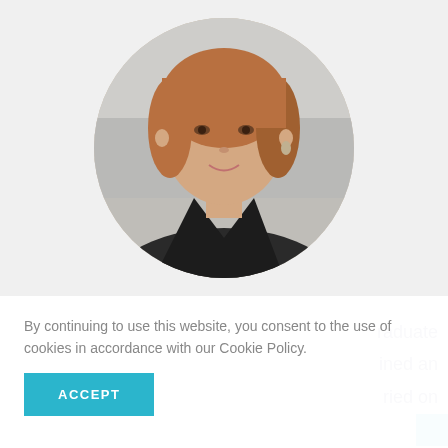[Figure (photo): Circular portrait photo of a woman with shoulder-length auburn hair, wearing a black blazer, smiling, on a light blurred background.]
By continuing to use this website, you consent to the use of cookies in accordance with our Cookie Policy.
ACCEPT
raduate
ined an
ried on